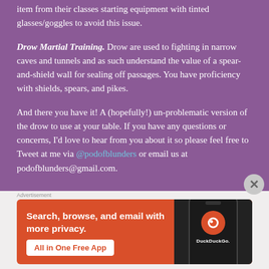item from their classes starting equipment with tinted glasses/goggles to avoid this issue.
Drow Martial Training. Drow are used to fighting in narrow caves and tunnels and as such understand the value of a spear-and-shield wall for sealing off passages. You have proficiency with shields, spears, and pikes.
And there you have it! A (hopefully!) un-problematic version of the drow to use at your table. If you have any questions or concerns, I'd love to hear from you about it so please feel free to Tweet at me via @podofblunders or email us at podofblunders@gmail.com.
[Figure (screenshot): DuckDuckGo advertisement banner with orange background, text 'Search, browse, and email with more privacy. All in One Free App', and a phone mockup showing the DuckDuckGo logo.]